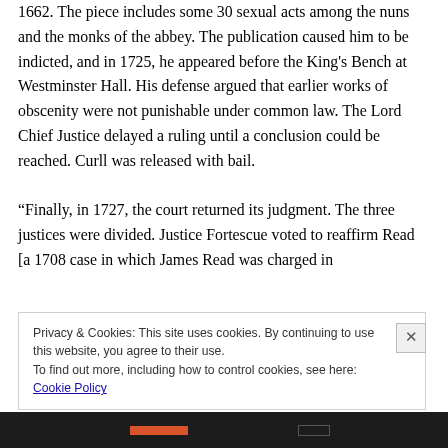1662. The piece includes some 30 sexual acts among the nuns and the monks of the abbey. The publication caused him to be indicted, and in 1725, he appeared before the King's Bench at Westminster Hall. His defense argued that earlier works of obscenity were not punishable under common law. The Lord Chief Justice delayed a ruling until a conclusion could be reached. Curll was released with bail.
“Finally, in 1727, the court returned its judgment. The three justices were divided. Justice Fortescue voted to reaffirm Read [a 1708 case in which James Read was charged in
Privacy & Cookies: This site uses cookies. By continuing to use this website, you agree to their use.
To find out more, including how to control cookies, see here: Cookie Policy
Close and accept